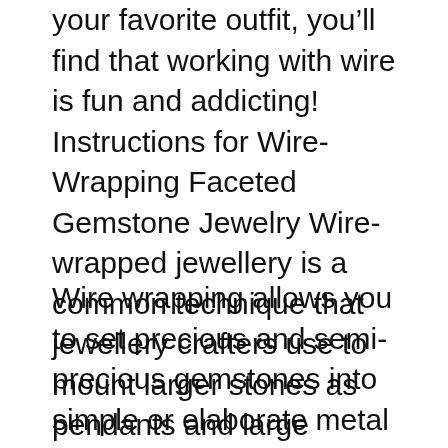your favorite outfit, you'll find that working with wire is fun and addicting! Instructions for Wire-Wrapping Faceted Gemstone Jewelry Wire-wrapped jewellery is a common technique that jewellery crafters use to mount larger stones as pendants and large charms. This technique can be used for all kinds of rock or gem shapes and sizes, and the вЂ¦
Wire wrapping allows you to set precious and semi-precious gemstones into simple or elaborate metal frameworks made out of copper, silver, gold, and other materials. You can get started for about $30. Wire wrapping is actually one of the oldest techniques used in the crafting of handmade jewelry. No matter what kind of wire wrapped jewelry you like to make,